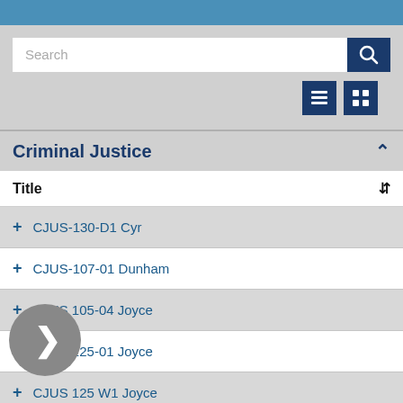[Figure (screenshot): Blue top bar decorative element]
Search
CJUS-130-D1 Cyr
CJUS-107-01 Dunham
CJUS 105-04 Joyce
CJUS 125-01 Joyce
CJUS 125 W1 Joyce
CJUS 230-01 Joyce
MacDonald CJUS 105-01 Fall
Criminal Justice
| Title |
| --- |
| CJUS-130-D1 Cyr |
| CJUS-107-01 Dunham |
| CJUS 105-04 Joyce |
| CJUS 125-01 Joyce |
| CJUS 125 W1 Joyce |
| CJUS 230-01 Joyce |
| MacDonald CJUS 105-01 Fall |